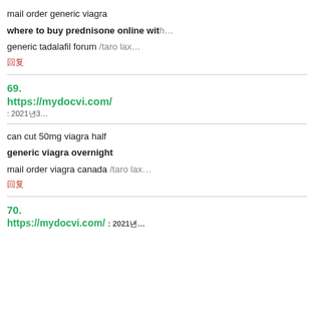mail order generic viagra
where to buy prednisone online with…
generic tadalafil forum /taro lax…
回复
69.
https://mydocvi.com/ : 2021년3…
can cut 50mg viagra half
generic viagra overnight
mail order viagra canada /taro lax…
回复
70.
https://mydocvi.com/ : 2021년…